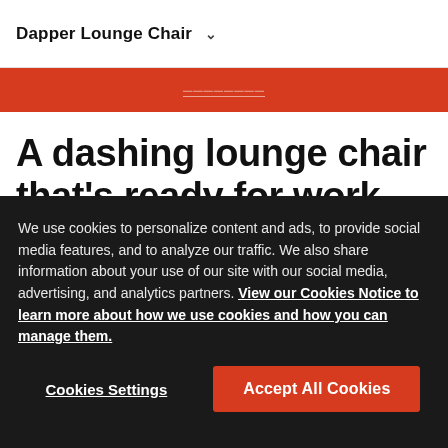Dapper Lounge Chair ▾
[Figure (other): Red banner with partially obscured text]
A dashing lounge chair that's ready for work
Designed by Doshi Levien for HAY, the Dapper Lounge Chair represents a fusion of industrial
We use cookies to personalize content and ads, to provide social media features, and to analyze our traffic. We also share information about your use of our site with our social media, advertising, and analytics partners. View our Cookies Notice to learn more about how we use cookies and how you can manage them.
Cookies Settings | Accept All Cookies